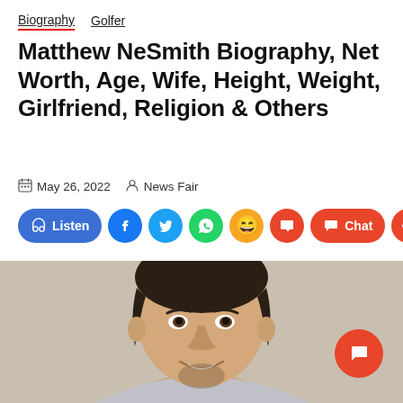Biography  Golfer
Matthew NeSmith Biography, Net Worth, Age, Wife, Height, Weight, Girlfriend, Religion & Others
May 26, 2022  News Fair
[Figure (screenshot): Social sharing bar with Listen, Facebook, Twitter, WhatsApp, emoji, comment, Chat, and share buttons]
[Figure (photo): Headshot photo of Matthew NeSmith, a golfer, smiling, with dark curly hair and a beard]